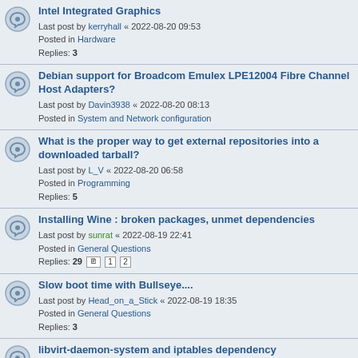Intel Integrated Graphics
Last post by kerryhall « 2022-08-20 09:53
Posted in Hardware
Replies: 3
Debian support for Broadcom Emulex LPE12004 Fibre Channel Host Adapters?
Last post by Davin3938 « 2022-08-20 08:13
Posted in System and Network configuration
What is the proper way to get external repositories into a downloaded tarball?
Last post by L_V « 2022-08-20 06:58
Posted in Programming
Replies: 5
Installing Wine : broken packages, unmet dependencies
Last post by sunrat « 2022-08-19 22:41
Posted in General Questions
Replies: 29 [1] [2]
Slow boot time with Bullseye....
Last post by Head_on_a_Stick « 2022-08-19 18:35
Posted in General Questions
Replies: 3
libvirt-daemon-system and iptables dependency
Last post by CwF « 2022-08-19 18:06
Posted in System and Network configuration
Replies: 12
Kernel panic 5.10.0-17
Last post by Aki « 2022-08-19 15:39
Posted in Offtopic
Replies: 4
No sound: HP Spectre x360 "Dummy Output" output device